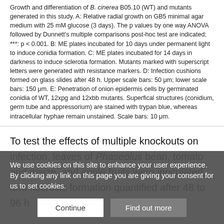Figure 2: Growth and differentiation of B. cinerea B05.10 (WT) and mutants generated in this study. A: Relative radial growth on GB5 minimal agar medium with 25 mM glucose (3 days). The p values by one way ANOVA followed by Dunnett's multiple comparisons post-hoc test are indicated; ***: p < 0.001. B: ME plates incubated for 10 days under permanent light to induce conidia formation. C: ME plates incubated for 14 days in darkness to induce sclerotia formation. Mutants marked with superscript letters were generated with resistance markers. D: Infection cushions formed on glass slides after 48 h. Upper scale bars: 50 μm; lower scale bars: 150 μm. E: Penetration of onion epidermis cells by germinated conidia of WT, 12xpg and 12xbb mutants. Superfical structures (conidium, germ tube and appressorium) are stained with trypan blue, whereas intracellular hyphae remain unstained. Scale bars: 10 μm.
To test the effects of multiple knockouts on infection, leaves of Phaseolus bean, tomato and maize, and apple fruits were inoculated, and necrosis formation quantified after 48 to 96 h
We use cookies on this site to enhance your user experience. By clicking any link on this page you are giving your consent for us to set cookies.